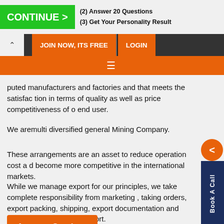[Figure (screenshot): Green CONTINUE button with right arrow, beside steps text: (2) Answer 20 Questions, (3) Get Your Personality Result]
JOIN NOW, ITS FREE   LOGIN
[Figure (screenshot): Orange navigation bar with hamburger menu icon]
puted manufacturers and factories and that meets the satisfaction in terms of quality as well as price competitiveness of our end user.
We aremulti diversified general Mining Company.
These arrangements are an asset to reduce operation cost and become more competitive in the international markets.
While we manage export for our principles, we take complete responsibility from marketing , taking orders, export packing, shipping, export documentation and after sales customer support.
[Figure (screenshot): Amazon Services orange button]
company with new ideas & values.
We follow a simple promise provide quality workmanship and